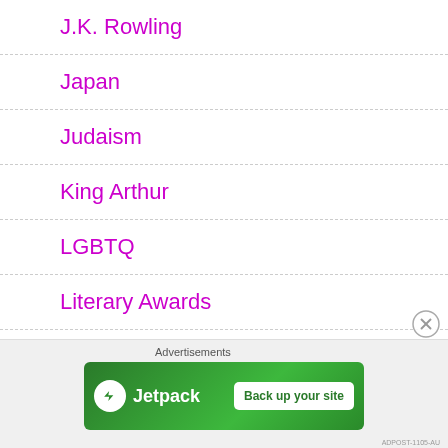J.K. Rowling
Japan
Judaism
King Arthur
LGBTQ
Literary Awards
Literature
Love
Advertisements
[Figure (screenshot): Jetpack advertisement banner with 'Back up your site' button on green background]